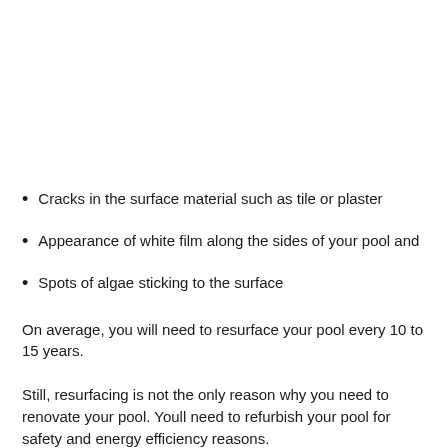Cracks in the surface material such as tile or plaster
Appearance of white film along the sides of your pool and
Spots of algae sticking to the surface
On average, you will need to resurface your pool every 10 to 15 years.
Still, resurfacing is not the only reason why you need to renovate your pool. Youll need to refurbish your pool for safety and energy efficiency reasons.